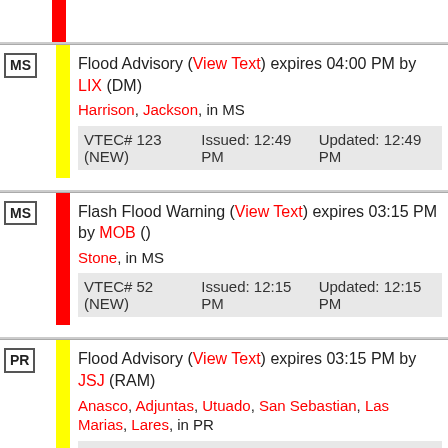MS Flood Advisory (View Text) expires 04:00 PM by LIX (DM) Harrison, Jackson, in MS VTEC# 123 (NEW) Issued: 12:49 PM Updated: 12:49 PM
MS Flash Flood Warning (View Text) expires 03:15 PM by MOB () Stone, in MS VTEC# 52 (NEW) Issued: 12:15 PM Updated: 12:15 PM
PR Flood Advisory (View Text) expires 03:15 PM by JSJ (RAM) Anasco, Adjuntas, Utuado, San Sebastian, Las Marias, Lares, in PR VTEC# 217 Issued: 12:07 Updated: 12:07